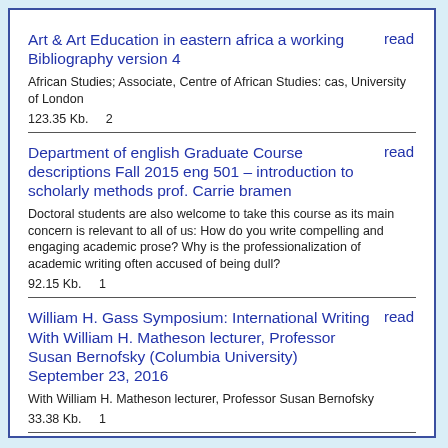Art & Art Education in eastern africa a working Bibliography version 4 | read
African Studies; Associate, Centre of African Studies: cas, University of London
123.35 Kb.   2
Department of english Graduate Course descriptions Fall 2015 eng 501 – introduction to scholarly methods prof. Carrie bramen | read
Doctoral students are also welcome to take this course as its main concern is relevant to all of us: How do you write compelling and engaging academic prose? Why is the professionalization of academic writing often accused of being dull?
92.15 Kb.   1
William H. Gass Symposium: International Writing With William H. Matheson lecturer, Professor Susan Bernofsky (Columbia University) September 23, 2016 | read
With William H. Matheson lecturer, Professor Susan Bernofsky
33.38 Kb.   1
Three Approaches to Defining Jazz Mark | read